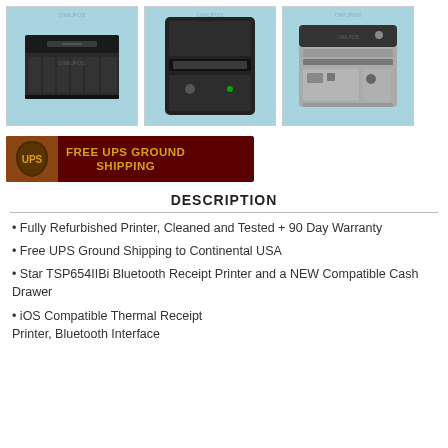[Figure (photo): Three product photos on light blue background: a black cash drawer, a black thermal receipt printer (top view), and a black/grey receipt printer (front view). All have OWLPOS watermark.]
[Figure (photo): UPS Free UPS Ground Shipping banner with UPS shield logo on dark red background with gold text.]
DESCRIPTION
Fully Refurbished Printer, Cleaned and Tested + 90 Day Warranty
Free UPS Ground Shipping to Continental USA
Star TSP654IIBi Bluetooth Receipt Printer and a NEW Compatible Cash Drawer
iOS Compatible Thermal Receipt Printer, Bluetooth Interface